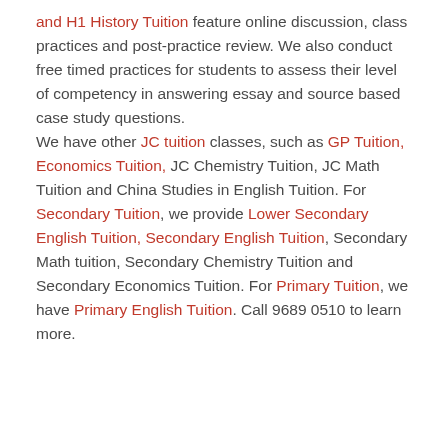and H1 History Tuition feature online discussion, class practices and post-practice review. We also conduct free timed practices for students to assess their level of competency in answering essay and source based case study questions.
We have other JC tuition classes, such as GP Tuition, Economics Tuition, JC Chemistry Tuition, JC Math Tuition and China Studies in English Tuition. For Secondary Tuition, we provide Lower Secondary English Tuition, Secondary English Tuition, Secondary Math tuition, Secondary Chemistry Tuition and Secondary Economics Tuition. For Primary Tuition, we have Primary English Tuition. Call 9689 0510 to learn more.